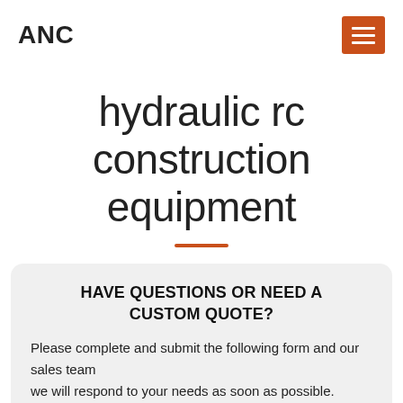ANC
hydraulic rc construction equipment
HAVE QUESTIONS OR NEED A CUSTOM QUOTE?
Please complete and submit the following form and our sales team
we will respond to your needs as soon as possible.
Name:*
Such as: Tom